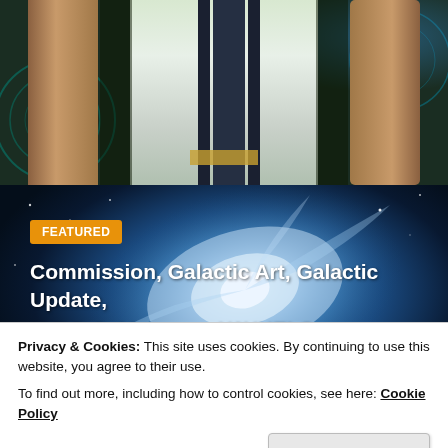[Figure (photo): Top portion showing a person in a white and dark-striped costume or armor, with bare arms, against a dark patterned background with teal/green circular designs]
[Figure (photo): Space/galaxy background with a blue-white galactic swirl/spiral against a dark blue starfield]
FEATURED
Commission, Galactic Art, Galactic Update, H.E.B.S, Message, YAYHELS
Privacy & Cookies: This site uses cookies. By continuing to use this website, you agree to their use.
To find out more, including how to control cookies, see here: Cookie Policy
Close and accept
I am Ash'Tar Ka'Ree.